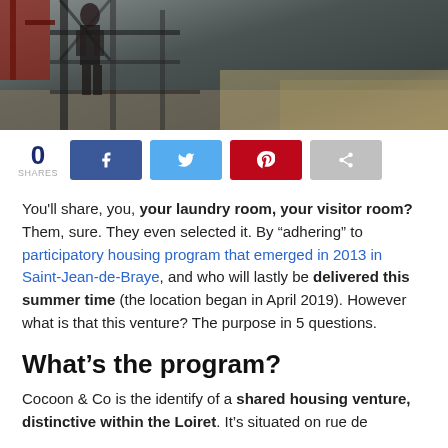[Figure (photo): Top portion of a photo showing a person on a metal bridge or scaffolding structure, partially cut off at the top of the page.]
0 SHARES [Facebook share button] [Twitter share button] [Pinterest share button] [Share button]
You'll share, you, your laundry room, your visitor room? Them, sure. They even selected it. By “adhering” to participatory housing program that emerged in 2013 in Saint-Jean-de-Braye, and who will lastly be delivered this summer time (the location began in April 2019). However what is that this venture? The purpose in 5 questions.
What’s the program?
Cocoon & Co is the identify of a shared housing venture, distinctive within the Loiret. It’s situated on rue de